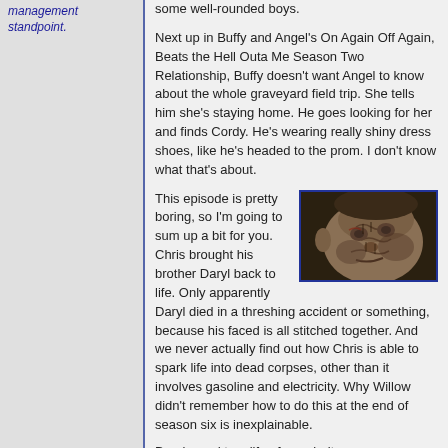management standpoint.
some well-rounded boys.
Next up in Buffy and Angel's On Again Off Again, Beats the Hell Outa Me Season Two Relationship, Buffy doesn't want Angel to know about the whole graveyard field trip. She tells him she's staying home. He goes looking for her and finds Cordy. He's wearing really shiny dress shoes, like he's headed to the prom. I don't know what that's about.
This episode is pretty boring, so I'm going to sum up a bit for you. Chris brought his brother Daryl back to life. Only apparently Daryl died in a threshing accident or something, because his faced is all stitched together. And we never actually find out how Chris is able to spark life into dead corpses, other than it involves gasoline and electricity. Why Willow didn't remember how to do this at the end of season six is inexplainable.
[Figure (photo): Close-up photo of a zombie/monster face with stitched skin, pale and decayed looking, tilted at an angle against a dark background.]
Daryl, used to a life of popularity,